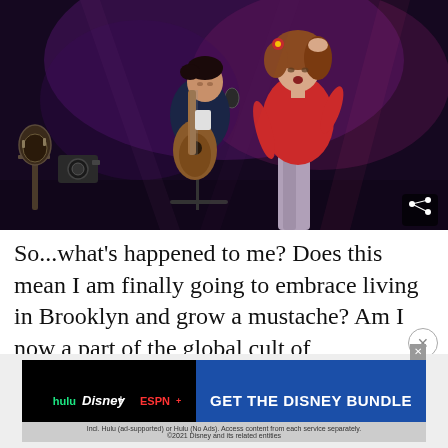[Figure (photo): Two musicians performing on a dark stage. A man in a dark jacket plays an acoustic guitar at a microphone stand, while a woman in a red top and light-colored pants stands front-right, appearing to sing. The stage lighting has a purple/magenta hue. A share icon button is visible in the bottom-right corner of the image.]
So...what's happened to me? Does this mean I am finally going to embrace living in Brooklyn and grow a mustache? Am I now a part of the global cult of
[Figure (other): Advertisement banner for the Disney Bundle featuring Hulu, Disney+, and ESPN+ logos on a black background on the left, and a blue background on the right with text 'GET THE DISNEY BUNDLE'. Fine print reads: Incl. Hulu (ad-supported) or Hulu (No Ads). Access content from each service separately. ©2021 Disney and its related entities]